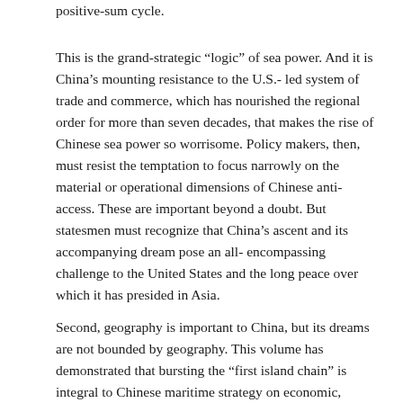positive-sum cycle.
This is the grand-strategic “logic” of sea power. And it is China’s mounting resistance to the U.S.-led system of trade and commerce, which has nourished the regional order for more than seven decades, that makes the rise of Chinese sea power so worrisome. Policy makers, then, must resist the temptation to focus narrowly on the material or operational dimensions of Chinese anti-access. These are important beyond a doubt. But statesmen must recognize that China’s ascent and its accompanying dream pose an all-encompassing challenge to the United States and the long peace over which it has presided in Asia.
Second, geography is important to China, but its dreams are not bounded by geography. This volume has demonstrated that bursting the “first island chain” is integral to Chinese maritime strategy on economic, diplomatic, and military